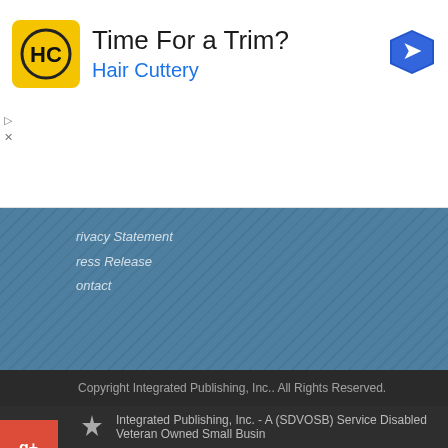[Figure (infographic): Hair Cuttery advertisement banner with HC logo on yellow background, headline 'Time For a Trim?' and brand name 'Hair Cuttery' in blue, with navigation arrow icon on right]
[Figure (infographic): Parts Hangar advertisement banner with logo, 'CLICK HERE' red button, and 'Order Parts Found On This Website' text in dark blue]
Privacy Statement
Press Release
Contact
Copyright Integrated Publishing, Inc.. All Rights Reserved.
Integrated Publishing, Inc. - A (SDVOSB) Service Disabled Veteran Owned Small Business